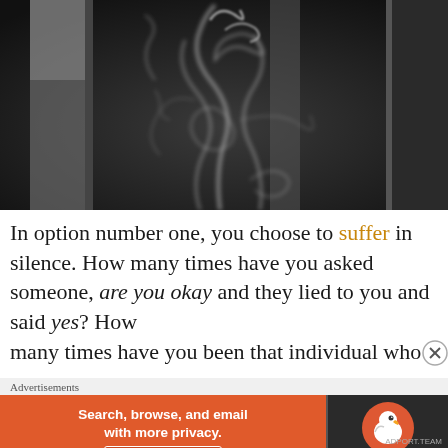[Figure (photo): Black and white photograph of wisps of smoke curling and drifting against a dark background with vertical surfaces visible.]
In option number one, you choose to suffer in silence. How many times have you asked someone, are you okay and they lied to you and said yes? How many times have you been that individual who lie
Advertisements
[Figure (infographic): DuckDuckGo advertisement banner: orange left panel reading 'Search, browse, and email with more privacy. All in One Free App' and dark right panel with DuckDuckGo duck logo and brand name.]